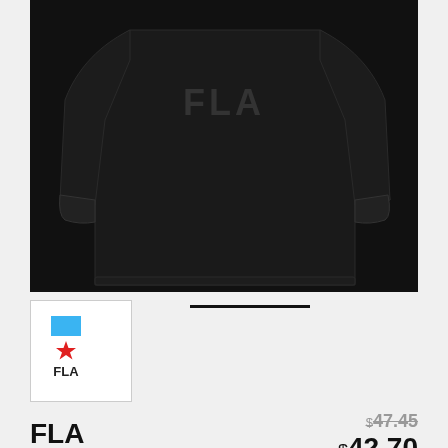[Figure (photo): Black hoodie/sweatshirt with 'FLA' text on chest, displayed on white background]
[Figure (photo): Thumbnail of FLA logo: blue square with red star and text FLA below]
FLA
$47.45 (strikethrough) $42.70
Women's (dropdown) Zip-Up Hoody (dropdown)
SELECT YOUR FIT